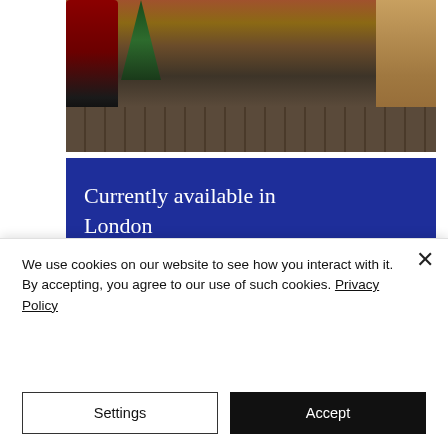[Figure (photo): Christmas scene photo showing Santa Claus, a person in an elf costume, and children standing on a patterned carpet floor near a Christmas tree and wooden staircase.]
Currently available in London
[Figure (other): Dark horizontal bar element below the blue banner]
We use cookies on our website to see how you interact with it. By accepting, you agree to our use of such cookies. Privacy Policy
Settings
Accept